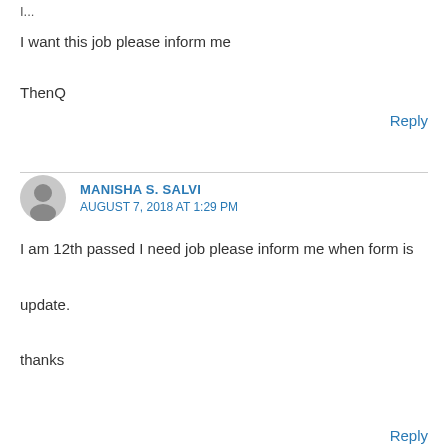I...
I want this job please inform me
ThenQ
Reply
MANISHA S. SALVI
AUGUST 7, 2018 AT 1:29 PM
I am 12th passed I need job please inform me when form is update.
thanks
Reply